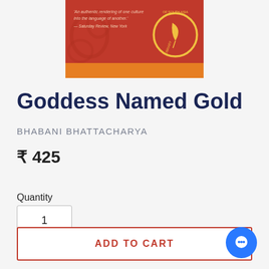[Figure (illustration): Book cover for 'Goddess Named Gold' by Bhabani Bhattacharya. Red background with gold decorative elements, a logo for Library of South Asia, and a quote: 'An authentic rendering of one culture into the language of another.' — Saturday Review, New York]
Goddess Named Gold
BHABANI BHATTACHARYA
₹ 425
Quantity
1
ADD TO CART